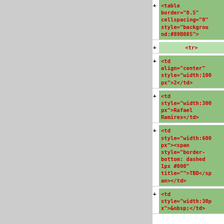[Figure (screenshot): Code editor diff view showing HTML table code with green highlighted additions. Left panel is gray (collapsed/hidden). Right panel shows lines of HTML code in red monospace text on green background, including table tag with border and cellspacing attributes, tr tag, multiple td tags with align and style attributes, and content including '2', 'Rafael Ramires', a span with dashed border style and TBD text, and a td with width:30px and &nbsp;.]
<table border="0.5" cellspacing="0" style="background-round:#89B085">
<tr>
<td align="center" style="width:100px">2</td>
<td style="width:300px">Rafael Ramires</td>
<td style="width:600px"><span style="border-bottom: dashed 1px #000" title="">TBD</span></td>
<td style="width:30px">&nbsp;</td>